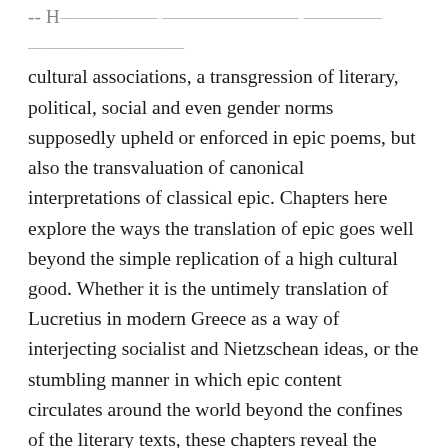-- H[partial text clipped] ... cultural associations, a transgression of literary, political, social and even gender norms supposedly upheld or enforced in epic poems, but also the transvaluation of canonical interpretations of classical epic. Chapters here explore the ways the translation of epic goes well beyond the simple replication of a high cultural good. Whether it is the untimely translation of Lucretius in modern Greece as a way of interjecting socialist and Nietzschean ideas, or the stumbling manner in which epic content circulates around the world beyond the confines of the literary texts, these chapters reveal the space of ancient epic as much more refractory and contentious than the old notion of the “literary classic” allows. Finally, a chapter on the translation of epic in the imperial context of